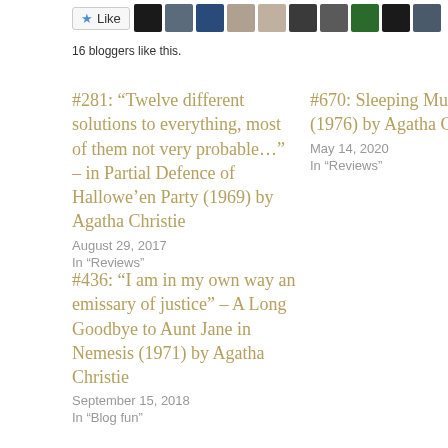[Figure (screenshot): Like button with star icon and a row of blogger avatar thumbnails]
16 bloggers like this.
#281: “Twelve different solutions to everything, most of them not very probable…” – in Partial Defence of Hallowe’en Party (1969) by Agatha Christie
August 29, 2017
In “Reviews”
#670: Sleeping Murder (1976) by Agatha Christie
May 14, 2020
In “Reviews”
#436: “I am in my own way an emissary of justice” – A Long Goodbye to Aunt Jane in Nemesis (1971) by Agatha Christie
September 15, 2018
In “Blog fun”